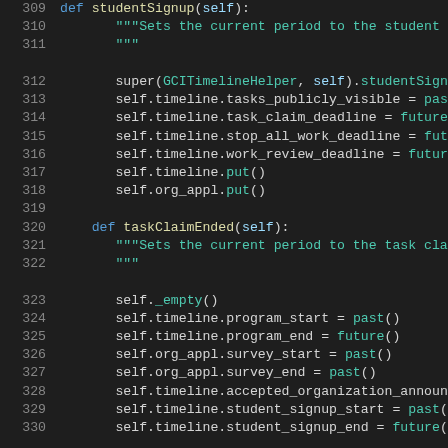[Figure (screenshot): Python source code snippet showing methods studentSignup and taskClaimEnded of a class, with syntax highlighting. Lines 309-330 visible. Dark theme code editor background.]